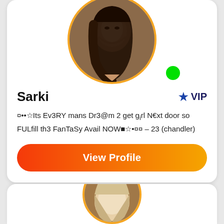[Figure (photo): Profile photo of Sarki, a young woman with braided hair, smiling, with an orange circular border and a green online indicator dot]
Sarki
VIP
¤••☆Its Ev3RY mans Dr3@m 2 get girl N€xt door so FULfill th3 FanTaSy Avail NOW■☆•¤¤ – 23 (chandler)
View Profile
[Figure (photo): Partial profile photo of a second user, a blonde woman, shown from the top of the head, with orange circular border, partially cut off at the bottom of the page]